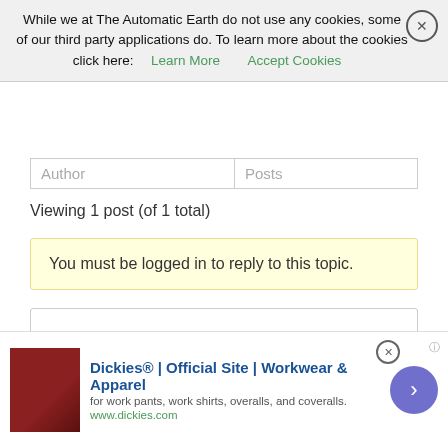While we at The Automatic Earth do not use any cookies, some of our third party applications do. To learn more about the cookies click here: Learn More  Accept Cookies
| Author | Posts |
| --- | --- |
Viewing 1 post (of 1 total)
You must be logged in to reply to this topic.
Username:
Password:
Keep me signed in
Log In
[Figure (screenshot): Advertisement for Dickies workwear showing leather chair image, bold blue title text, description text, and purple arrow button]
Dickies® | Official Site | Workwear & Apparel
for work pants, work shirts, overalls, and coveralls.
www.dickies.com